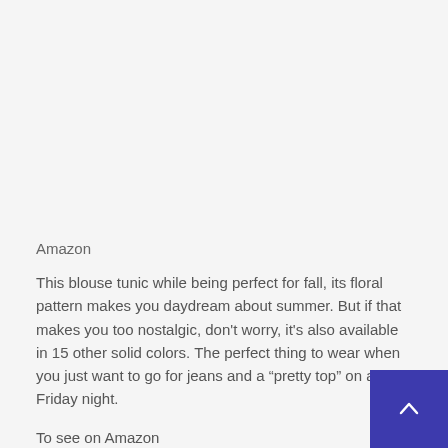Amazon
This blouse tunic while being perfect for fall, its floral pattern makes you daydream about summer. But if that makes you too nostalgic, don't worry, it's also available in 15 other solid colors. The perfect thing to wear when you just want to go for jeans and a “pretty top” on a Friday night.
To see on Amazon